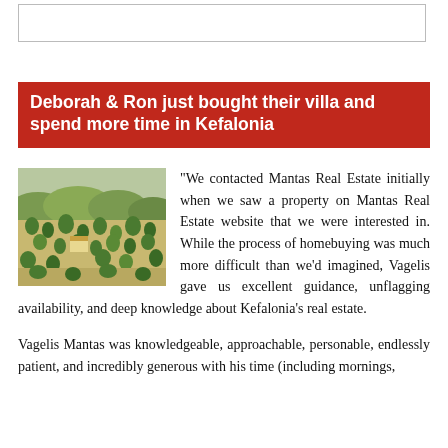[Figure (other): Empty bordered box at top of page]
Deborah & Ron just bought their villa and spend more time in Kefalonia
[Figure (photo): Aerial view of a hillside landscape with olive trees and scattered buildings in Kefalonia]
"We contacted Mantas Real Estate initially when we saw a property on Mantas Real Estate website that we were interested in. While the process of homebuying was much more difficult than we'd imagined, Vagelis gave us excellent guidance, unflagging availability, and deep knowledge about Kefalonia's real estate.
Vagelis Mantas was knowledgeable, approachable, personable, endlessly patient, and incredibly generous with his time (including mornings,